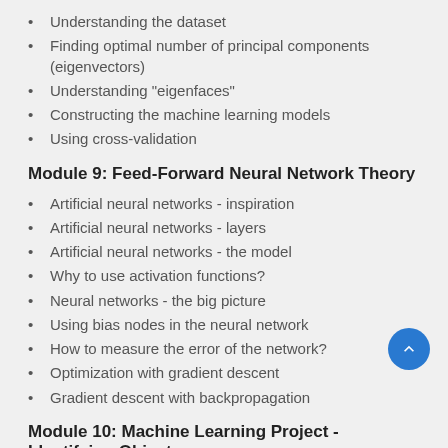Understanding the dataset
Finding optimal number of principal components (eigenvectors)
Understanding "eigenfaces"
Constructing the machine learning models
Using cross-validation
Module 9: Feed-Forward Neural Network Theory
Artificial neural networks - inspiration
Artificial neural networks - layers
Artificial neural networks - the model
Why to use activation functions?
Neural networks - the big picture
Using bias nodes in the neural network
How to measure the error of the network?
Optimization with gradient descent
Gradient descent with backpropagation
Module 10: Machine Learning Project - Identifying Objects